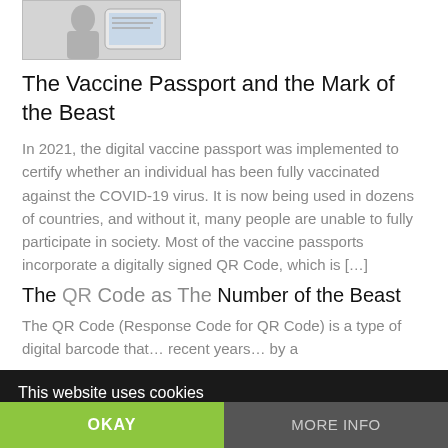[Figure (photo): Thumbnail image showing a person looking at a phone/tablet displaying something]
The Vaccine Passport and the Mark of the Beast
In 2021, the digital vaccine passport was implemented to certify whether an individual has been fully vaccinated against the COVID-19 virus. It is now being used in dozens of countries, and without it, many people are unable to fully participate in society. Most of the vaccine passports incorporate a digitally signed QR Code, which is […]
The QR Code as The Number of the Beast
The QR Code (Response Code for QR Code) is a type of digital barcode that… recent years… by a
This website uses cookies
OKAY
MORE INFO